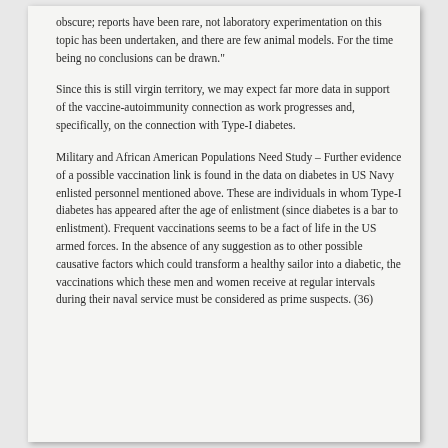obscure; reports have been rare, not laboratory experimentation on this topic has been undertaken, and there are few animal models. For the time being no conclusions can be drawn."
Since this is still virgin territory, we may expect far more data in support of the vaccine-autoimmunity connection as work progresses and, specifically, on the connection with Type-I diabetes.
Military and African American Populations Need Study – Further evidence of a possible vaccination link is found in the data on diabetes in US Navy enlisted personnel mentioned above. These are individuals in whom Type-I diabetes has appeared after the age of enlistment (since diabetes is a bar to enlistment). Frequent vaccinations seems to be a fact of life in the US armed forces. In the absence of any suggestion as to other possible causative factors which could transform a healthy sailor into a diabetic, the vaccinations which these men and women receive at regular intervals during their naval service must be considered as prime suspects. (36)